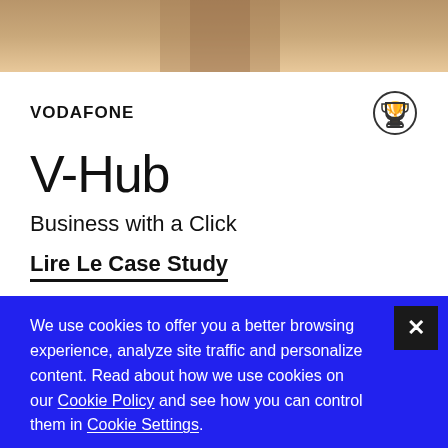[Figure (photo): Photo strip showing partial view of a person, cropped at top of page]
VODAFONE
V-Hub
Business with a Click
Lire Le Case Study
We use cookies to offer you a better browsing experience, analyze site traffic and personalize content. Read about how we use cookies on our Cookie Policy and see how you can control them in Cookie Settings.